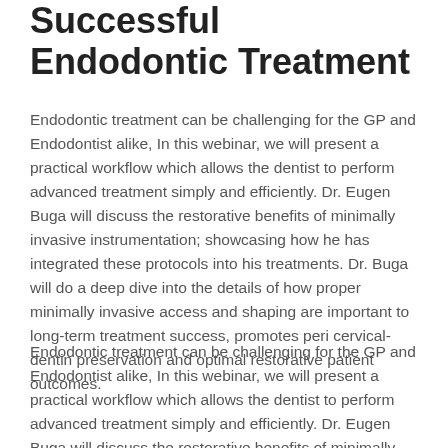Successful Endodontic Treatment
Endodontic treatment can be challenging for the GP and Endodontist alike, In this webinar, we will present a practical workflow which allows the dentist to perform advanced treatment simply and efficiently. Dr. Eugen Buga will discuss the restorative benefits of minimally invasive instrumentation; showcasing how he has integrated these protocols into his treatments. Dr. Buga will do a deep dive into the details of how proper minimally invasive access and shaping are important to long-term treatment success, promotes peri cervical-dentin preservation and optimal restorative patient outcomes.
Endodontic treatment can be challenging for the GP and Endodontist alike, In this webinar, we will present a practical workflow which allows the dentist to perform advanced treatment simply and efficiently. Dr. Eugen Buga will discuss the restorative benefits of minimally invasive